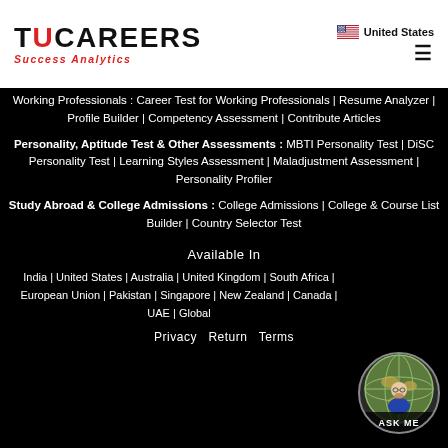United States
[Figure (logo): TUCAREERS Success Analytics logo — black bold text with red U, red italic subtitle 'Success Analytics']
Working Professionals : Career Test for Working Professionals | Resume Analyzer | Profile Builder | Competency Assessment | Contribute Articles
Personality, Aptitude Test & Other Assessments : MBTI Personality Test | DiSC Personality Test | Learning Styles Assessment | Maladjustment Assessment | Personality Profiler
Study Abroad & College Admissions : College Admissions | College & Course List Builder | Country Selector Test
Available In
India | United States | Australia | United Kingdom | South Africa | European Union | Pakistan | Singapore | New Zealand | Canada | UAE | Global
Privacy  Return  Terms
[Figure (illustration): Circular 'ASK ME' chatbot bubble with globe and person illustration]